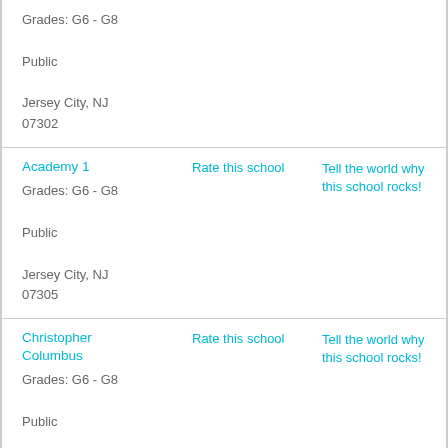Grades: G6 - G8
Public
Jersey City, NJ 07302
Academy 1
Rate this school
Tell the world why this school rocks!
Grades: G6 - G8
Public
Jersey City, NJ 07305
Christopher Columbus
Rate this school
Tell the world why this school rocks!
Grades: G6 - G8
Public
Union City, NJ 07087
Ocean City
Rate this school
Tell the world why this school